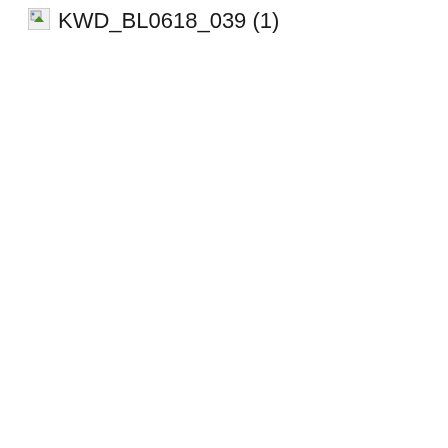[Figure (other): Broken image thumbnail icon (small document/image placeholder with green triangle)]
KWD_BL0618_039 (1)